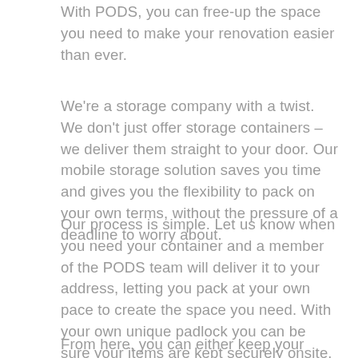With PODS, you can free-up the space you need to make your renovation easier than ever.
We're a storage company with a twist. We don't just offer storage containers – we deliver them straight to your door. Our mobile storage solution saves you time and gives you the flexibility to pack on your own terms, without the pressure of a deadline to worry about.
Our process is simple. Let us know when you need your container and a member of the PODS team will deliver it to your address, letting you pack at your own pace to create the space you need. With your own unique padlock you can be sure your items are kept securely onsite.
From here, you can either keep your container at your address or choose to have it stored at our